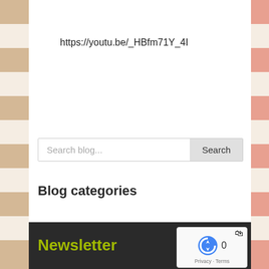https://youtu.be/_HBfm71Y_4I
[Figure (screenshot): Search blog input field with placeholder text 'Search blog...' and a 'Search' button on the right]
Blog categories
[Figure (other): Hamburger menu icon with three horizontal olive/yellow-green lines]
Newsletter
[Figure (other): reCAPTCHA widget showing logo, number 0, Privacy and Terms links]